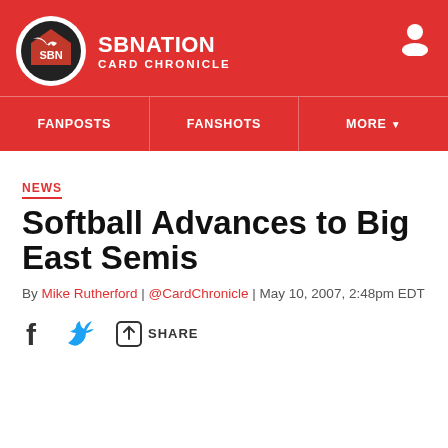SB Nation | Card Chronicle
NEWS
Softball Advances to Big East Semis
By Mike Rutherford | @CardChronicle | May 10, 2007, 2:48pm EDT